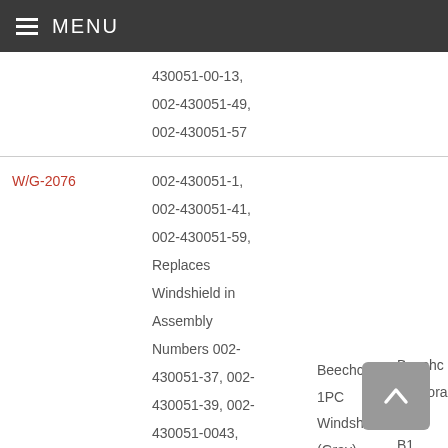MENU
| Part Number | Description | Qty | Application |
| --- | --- | --- | --- |
|  | 430051-00-13, 002-430051-49, 002-430051-57 |  |  |
| W/G-2076 | 002-430051-1, 002-430051-41, 002-430051-59, Replaces Windshield in Assembly Numbers 002-430051-37, 002-430051-39, 002-430051-0043, 002-430051-49, 002-430051-57 | Beechcraft 1PC Windshield (Gray) | Beechcraft Corporation (A36, B36, G36, 58, G58) |